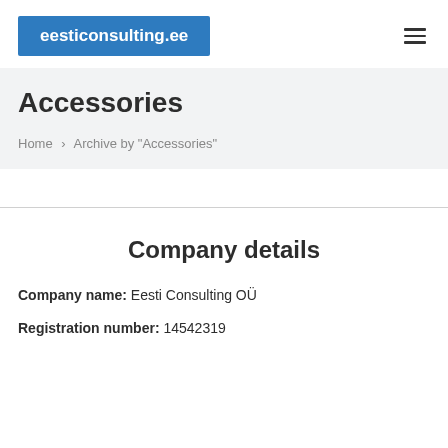eesticonsulting.ee
Accessories
Home › Archive by "Accessories"
Company details
Company name: Eesti Consulting OÜ
Registration number: 14542319